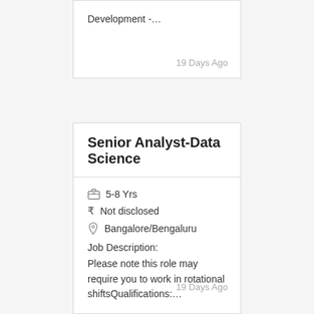Development -…
19 Days Ago
Senior Analyst-Data Science
5-8 Yrs
Not disclosed
Bangalore/Bengaluru
Job Description:
Please note this role may require you to work in rotational shiftsQualifications:…
19 Days Ago